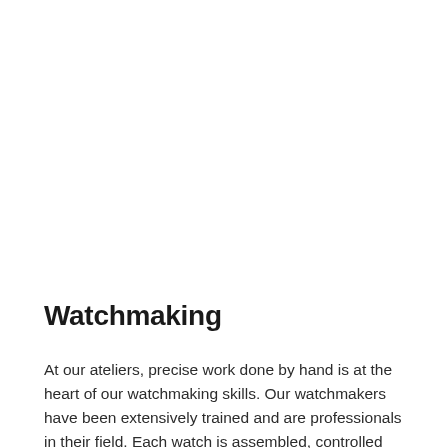Watchmaking
At our ateliers, precise work done by hand is at the heart of our watchmaking skills. Our watchmakers have been extensively trained and are professionals in their field. Each watch is assembled, controlled and